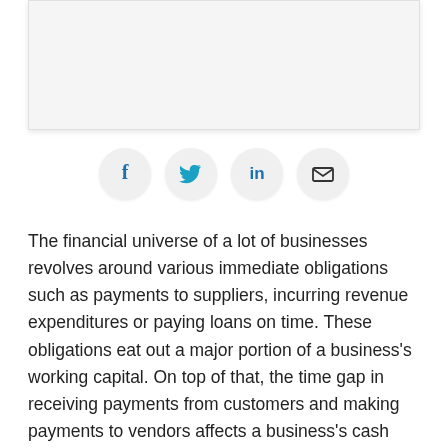[Figure (other): White/light grey rectangular image placeholder area with border and shadow at the top of the page]
[Figure (infographic): Four social sharing icon buttons in circles: Facebook (f), Twitter (bird), LinkedIn (in), Email (envelope)]
The financial universe of a lot of businesses revolves around various immediate obligations such as payments to suppliers, incurring revenue expenditures or paying loans on time. These obligations eat out a major portion of a business's working capital. On top of that, the time gap in receiving payments from customers and making payments to vendors affects a business's cash